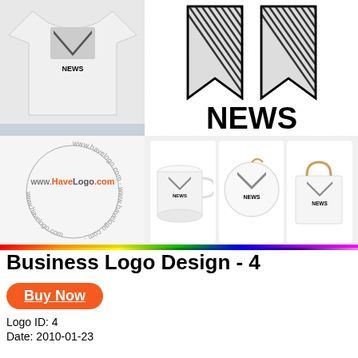[Figure (illustration): Composite image showing a NEWS logo brand identity design. Top left: white t-shirt with NEWS logo. Middle left: white car with NEWS logo decal. Center/right: large NEWS logo mark (chevron/bookmark shape with diagonal lines) with 'NEWS' text in bold black. Bottom left: www.HaveLogo.com watermark. Bottom right: three product mockups (mug, button/badge, shopping bag) each showing the NEWS logo.]
Business Logo Design - 4
Buy Now
Logo ID: 4
Date: 2010-01-23